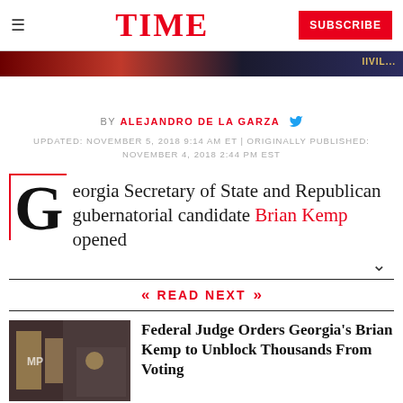TIME  SUBSCRIBE
[Figure (photo): Dark red and blue image strip at top of article]
BY ALEJANDRO DE LA GARZA
UPDATED: NOVEMBER 5, 2018 9:14 AM ET | ORIGINALLY PUBLISHED: NOVEMBER 4, 2018 2:44 PM EST
Georgia Secretary of State and Republican gubernatorial candidate Brian Kemp opened
READ NEXT
[Figure (photo): Photo of Brian Kemp at campaign rally with supporters]
Federal Judge Orders Georgia's Brian Kemp to Unblock Thousands From Voting